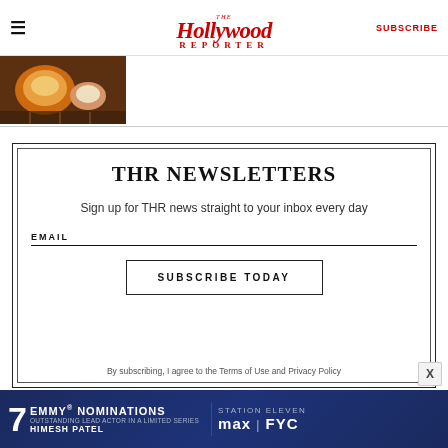The Hollywood Reporter — SUBSCRIBE
[Figure (photo): Partial view of a food/cooking image with orange and brown tones]
THR NEWSLETTERS
Sign up for THR news straight to your inbox every day
EMAIL
SUBSCRIBE TODAY
By subscribing, I agree to the Terms of Use and Privacy Policy
[Figure (infographic): 7 Emmy Nominations — Station Eleven — Outstanding Lead Actor in a Limited Series — Himesh Patel — max | FYC advertisement banner]